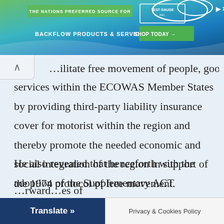[Figure (other): Advertisement banner for Test Gauge Inc - 'The Nations Preferred Source for Backflow Products & Services' with a Shop Today button]
...ilitate free movement of people, goods and services within the ECOWAS Member States by providing third-party liability insurance cover for motorist within the region and thereby promote the needed economic and social integration of the region in support of the 1974 protocol of free movement.
He also revealed that henceforth with the adoption of the Supplementary ACT AS.SA/01/06/20 by the authority of Heads of States and Governments, the activities and operations of the Brown Card Scheme ...rward...es of